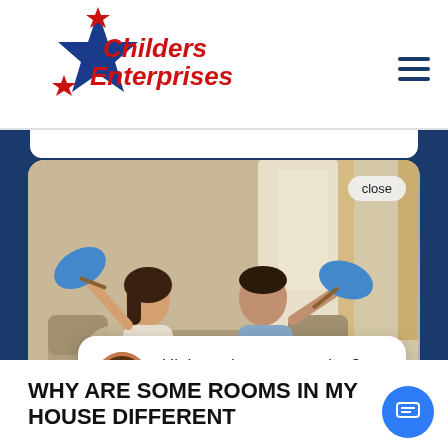[Figure (logo): Childers Enterprises logo: blue star with red text reading 'Childers Enterprises' and a red star accent on top]
[Figure (photo): A couple sitting on a couch fanning themselves with blue hand fans, appearing hot and uncomfortable, in a living room setting]
close
Hi there, have a question? Text us here.
WHY ARE SOME ROOMS IN MY HOUSE DIFFERENT